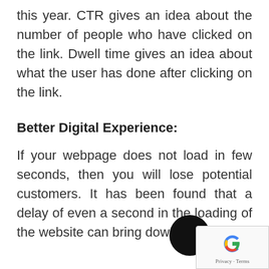this year. CTR gives an idea about the number of people who have clicked on the link. Dwell time gives an idea about what the user has done after clicking on the link.
Better Digital Experience:
If your webpage does not load in few seconds, then you will lose potential customers. It has been found that a delay of even a second in the loading of the website can bring down the